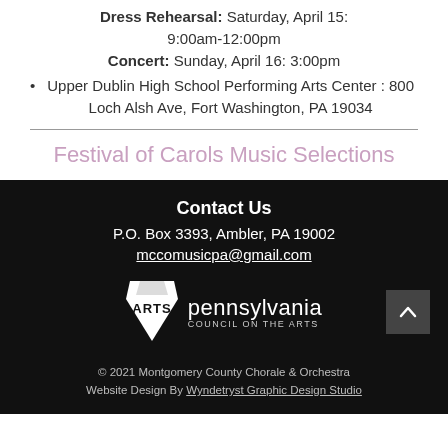Dress Rehearsal: Saturday, April 15: 9:00am-12:00pm
Concert: Sunday, April 16: 3:00pm
Upper Dublin High School Performing Arts Center : 800 Loch Alsh Ave, Fort Washington, PA 19034
Festival of Carols Music Selections
Contact Us
P.O. Box 3393, Ambler, PA 19002
mccomusicpa@gmail.com
[Figure (logo): Pennsylvania Council on the Arts logo with keystone shield icon and text 'pennsylvania COUNCIL ON THE ARTS']
© 2021 Montgomery County Chorale & Orchestra
Website Design By Wyndetryst Graphic Design Studio